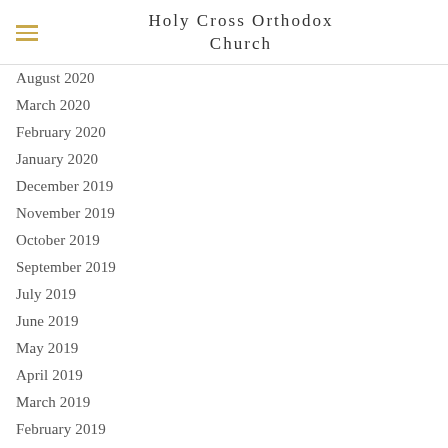Holy Cross Orthodox Church
August 2020
March 2020
February 2020
January 2020
December 2019
November 2019
October 2019
September 2019
July 2019
June 2019
May 2019
April 2019
March 2019
February 2019
December 2018
November 2018
October 2018
September 2018